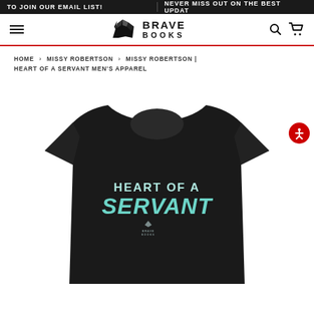TO JOIN OUR EMAIL LIST! NEVER MISS OUT ON THE BEST UPDAT
[Figure (logo): Brave Books logo with rhinoceros icon and text BRAVE BOOKS]
HOME > MISSY ROBERTSON > MISSY ROBERTSON | HEART OF A SERVANT MEN'S APPAREL
[Figure (photo): Black t-shirt with text 'HEART OF A SERVANT' and 'SERVANT' in teal italic bold letters, with small Brave Books logo below]